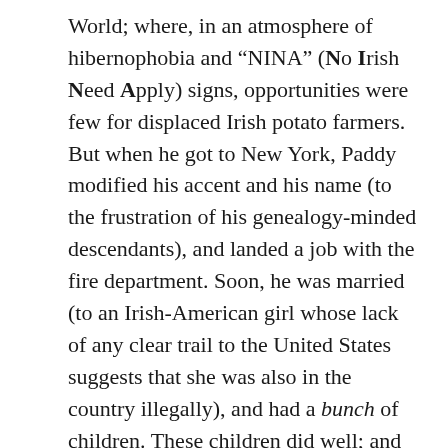World; where, in an atmosphere of hibernophobia and “NINA” (No Irish Need Apply) signs, opportunities were few for displaced Irish potato farmers. But when he got to New York, Paddy modified his accent and his name (to the frustration of his genealogy-minded descendants), and landed a job with the fire department. Soon, he was married (to an Irish-American girl whose lack of any clear trail to the United States suggests that she was also in the country illegally), and had a bunch of children. These children did well; and their grandchildren did even better. Paddy’s adopted name has spread far and wide across the country, into nearly every state, and every trade and profession.